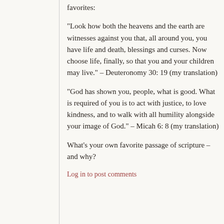favorites:
“Look how both the heavens and the earth are witnesses against you that, all around you, you have life and death, blessings and curses. Now choose life, finally, so that you and your children may live.” – Deuteronomy 30: 19 (my translation)
“God has shown you, people, what is good. What is required of you is to act with justice, to love kindness, and to walk with all humility alongside your image of God.” – Micah 6: 8 (my translation)
What’s your own favorite passage of scripture – and why?
Log in to post comments